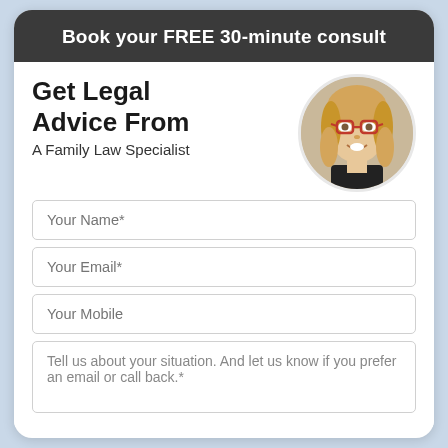Book your FREE 30-minute consult
Get Legal Advice From
A Family Law Specialist
[Figure (photo): Circular portrait photo of a smiling blonde woman with glasses wearing a black top]
Your Name*
Your Email*
Your Mobile
Tell us about your situation. And let us know if you prefer an email or call back.*